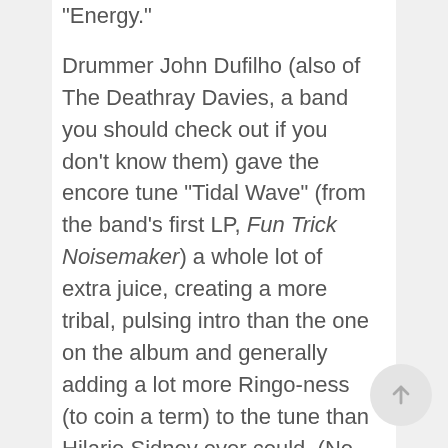“Energy.”

Drummer John Dufilho (also of The Deathray Davies, a band you should check out if you don’t know them) gave the encore tune “Tidal Wave” (from the band’s first LP, Fun Trick Noisemaker) a whole lot of extra juice, creating a more tribal, pulsing intro than the one on the album and generally adding a lot more Ringo-ness (to coin a term) to the tune than Hilarie Sidney ever could. (No knocks against Sidney, though. Her work with the High Water Marks the last few years is worth a listen, though it’s probably not as fun